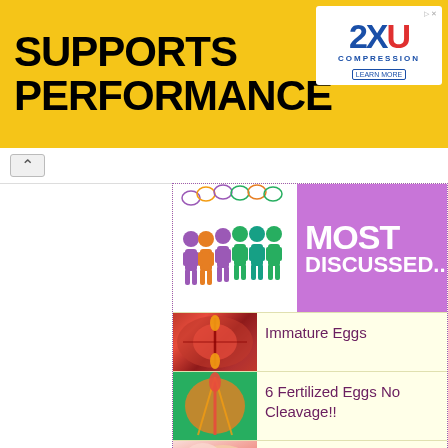[Figure (photo): Advertisement banner: yellow background with 'SUPPORTS PERFORMANCE' text in black and a 2XU compression brand logo on the right]
[Figure (infographic): Most Discussed section header with colorful human figures with speech bubbles and purple 'MOST DISCUSSED...' text]
Immature Eggs
6 Fertilized Eggs No Cleavage!!
Male Infertility Causes
Spotting And Cramping